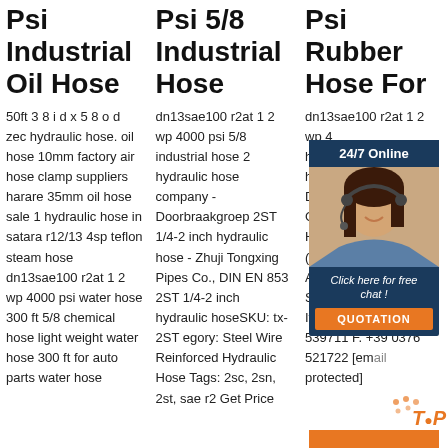Psi Industrial Oil Hose
50ft 3 8 i d x 5 8 o d zec hydraulic hose. oil hose 10mm factory air hose clamp suppliers harare 35mm oil hose sale 1 hydraulic hose in satara r12/13 4sp teflon steam hose dn13sae100 r2at 1 2 wp 4000 psi water hose 300 ft 5/8 chemical hose light weight water hose 300 ft for auto parts water hose
Psi 5/8 Industrial Hose
dn13sae100 r2at 1 2 wp 4000 psi 5/8 industrial hose 2 hydraulic hose company - Doorbraakgroep 2ST 1/4-2 inch hydraulic hose - Zhuji Tongxing Pipes Co., DIN EN 853 2ST 1/4-2 inch hydraulic hoseSKU: tx-2ST egory: Steel Wire Reinforced Hydraulic Hose Tags: 2sc, 2sn, 2st, sae r2 Get Price
Psi Rubber Hose For
dn13sae100 r2at 1 2 wp 4 hose hydr Doc GSI Hos (Itali Ama Suz Italy 539711 F. +39 0376 521722 [email protected]
[Figure (screenshot): Chat widget overlay showing a woman with headset, 24/7 Online header, Click here for free chat link, and QUOTATION button]